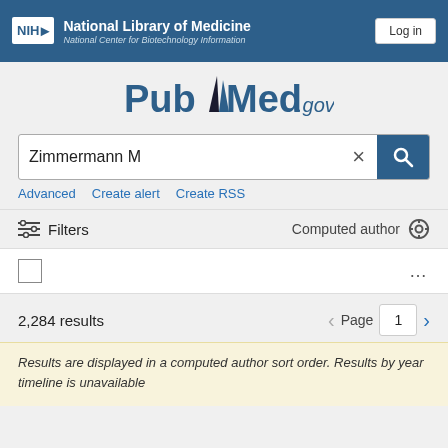NIH National Library of Medicine National Center for Biotechnology Information | Log in
[Figure (logo): PubMed.gov logo with stylized open book between 'Pub' and 'Med']
Zimmermann M
Advanced   Create alert   Create RSS
Filters   Computed author
2,284 results   Page 1
Results are displayed in a computed author sort order. Results by year timeline is unavailable